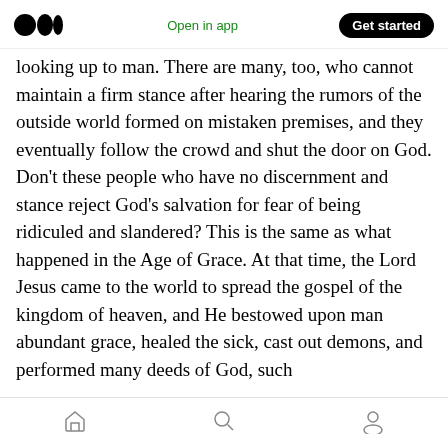Medium logo | Open in app | Get started
looking up to man. There are many, too, who cannot maintain a firm stance after hearing the rumors of the outside world formed on mistaken premises, and they eventually follow the crowd and shut the door on God. Don’t these people who have no discernment and stance reject God’s salvation for fear of being ridiculed and slandered? This is the same as what happened in the Age of Grace. At that time, the Lord Jesus came to the world to spread the gospel of the kingdom of heaven, and He bestowed upon man abundant grace, healed the sick, cast out demons, and performed many deeds of God, such
Home | Search | Profile